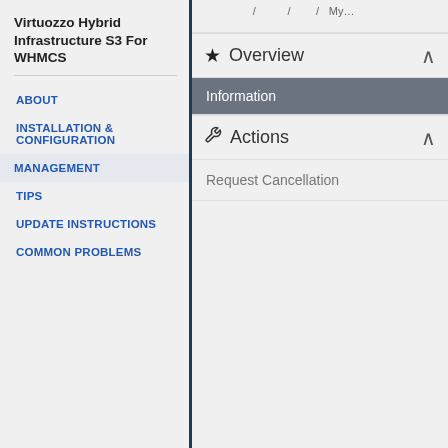Virtuozzo Hybrid Infrastructure S3 For WHMCS
ABOUT
INSTALLATION & CONFIGURATION
MANAGEMENT
TIPS
UPDATE INSTRUCTIONS
COMMON PROBLEMS
Overview
Information
Actions
Request Cancellation